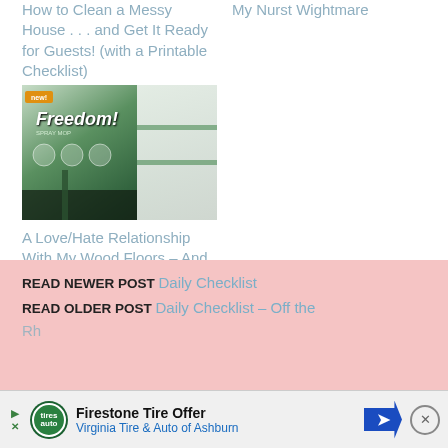How to Clean a Messy House . . . and Get It Ready for Guests! (with a Printable Checklist)
My Nurst Wightmare
[Figure (photo): Photo of a Libman Freedom Spray Mop product box, green and white packaging]
A Love/Hate Relationship With My Wood Floors – And a Libman Freedom Spray Mop Giveaway!
READ NEWER POST Daily Checklist
READ OLDER POST Daily Checklist – Off the
[Figure (screenshot): Advertisement banner for Firestone Tire Offer - Virginia Tire & Auto of Ashburn with navigation arrow icon]